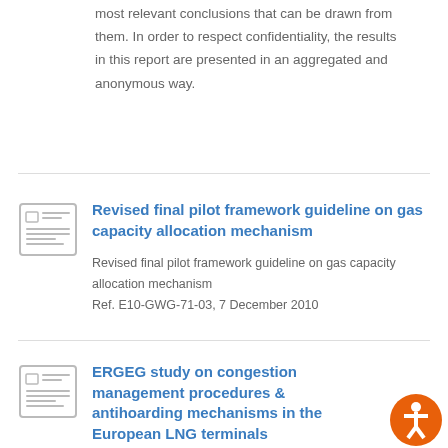most relevant conclusions that can be drawn from them. In order to respect confidentiality, the results in this report are presented in an aggregated and anonymous way.
Revised final pilot framework guideline on gas capacity allocation mechanism
Revised final pilot framework guideline on gas capacity allocation mechanism
Ref. E10-GWG-71-03, 7 December 2010
ERGEG study on congestion management procedures & antihoarding mechanisms in the European LNG terminals